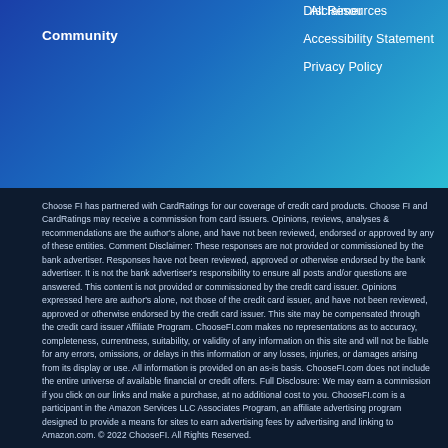All Resources   Disclaimer   Accessibility Statement   Privacy Policy   Community
Choose FI has partnered with CardRatings for our coverage of credit card products. Choose FI and CardRatings may receive a commission from card issuers. Opinions, reviews, analyses & recommendations are the author's alone, and have not been reviewed, endorsed or approved by any of these entities. Comment Disclaimer: These responses are not provided or commissioned by the bank advertiser. Responses have not been reviewed, approved or otherwise endorsed by the bank advertiser. It is not the bank advertiser's responsibility to ensure all posts and/or questions are answered. This content is not provided or commissioned by the credit card issuer. Opinions expressed here are author's alone, not those of the credit card issuer, and have not been reviewed, approved or otherwise endorsed by the credit card issuer. This site may be compensated through the credit card issuer Affiliate Program. ChooseFI.com makes no representations as to accuracy, completeness, currentness, suitability, or validity of any information on this site and will not be liable for any errors, omissions, or delays in this information or any losses, injuries, or damages arising from its display or use. All information is provided on an as-is basis. ChooseFI.com does not include the entire universe of available financial or credit offers. Full Disclosure: We may earn a commission if you click on our links and make a purchase, at no additional cost to you. ChooseFI.com is a participant in the Amazon Services LLC Associates Program, an affiliate advertising program designed to provide a means for sites to earn advertising fees by advertising and linking to Amazon.com. © 2022 ChooseFI. All Rights Reserved.